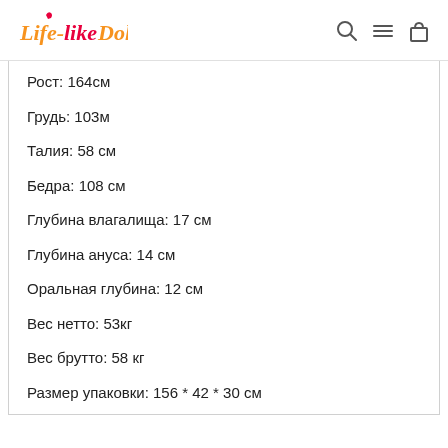Life-like Doll
Рост: 164см
Грудь: 103м
Талия: 58 см
Бедра: 108 см
Глубина влагалища: 17 см
Глубина ануса: 14 см
Оральная глубина: 12 см
Вес нетто: 53кг
Вес брутто: 58 кг
Размер упаковки: 156 * 42 * 30 см